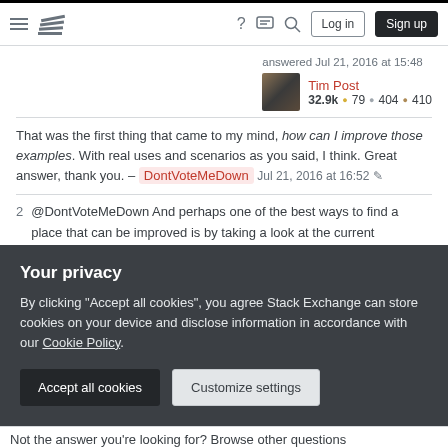Stack Overflow navigation bar with hamburger menu, logo, help, chat, search, Log in, Sign up buttons
answered Jul 21, 2016 at 15:48 Tim Post 32.9k ● 79 ● 404 ● 410
That was the first thing that came to my mind, how can I improve those examples. With real uses and scenarios as you said, I think. Great answer, thank you. – DontVoteMeDown Jul 21, 2016 at 16:52 ✏
2 @DontVoteMeDown And perhaps one of the best ways to find a place that can be improved is by taking a look at the current questions on SO, and finding out what
Your privacy
By clicking "Accept all cookies", you agree Stack Exchange can store cookies on your device and disclose information in accordance with our Cookie Policy.
Accept all cookies   Customize settings
Not the answer you're looking for? Browse other questions